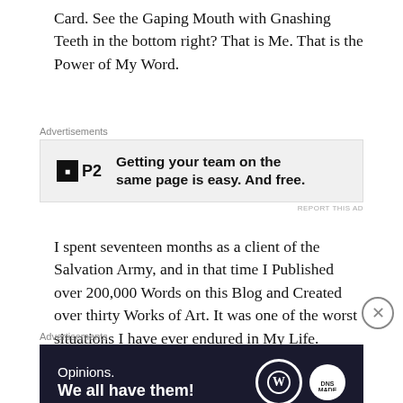Card.  See the Gaping Mouth with Gnashing Teeth in the bottom right?  That is Me.  That is the Power of My Word.
[Figure (other): Advertisement banner for P2 - 'Getting your team on the same page is easy. And free.']
I spent seventeen months as a client of the Salvation Army, and in that time I Published over 200,000 Words on this Blog and Created over thirty Works of Art.  It was one of the worst situations I have ever endured in My Life.  However, if You read what I was Writing on My Blog at that time, You Will have a difficult time finding a Post of Me complaining about My situation or the conditions I was subject to.  I have countless photos that would shock the world, which I Will never Publish publicly.  Why?  Because this is the Good News…
[Figure (other): Advertisement banner - 'Opinions. We all have them!' with WordPress and DNS Made Easy logos]